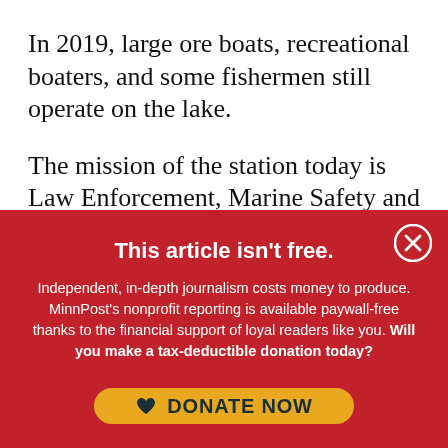In 2019, large ore boats, recreational boaters, and some fishermen still operate on the lake.
The mission of the station today is Law Enforcement, Marine Safety and Homeland Security from Taconite Harbor to the US Border...
This article isn't free.
Independent, in-depth journalism costs money to produce. MinnPost's nonprofit reporting is available paywall-free thanks to the financial support of loyal readers like you. Will you make a tax-deductible donation today?
[Figure (other): Yellow rounded-rectangle donate button with heart icon and text DONATE NOW]